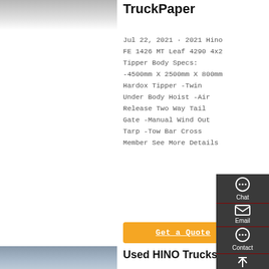[Figure (photo): Partial view of a truck, top-left corner]
TruckPaper
Jul 22, 2021 · 2021 Hino FE 1426 MT Leaf 4290 4x2 Tipper Body Specs: -4500mm X 2500mm X 800mm Hardox Tipper -Twin Under Body Hoist -Air Release Two Way Tail Gate -Manual Wind Out Tarp -Tow Bar Cross Member See More Details
[Figure (other): Side panel with Chat, Email, Contact, Top navigation icons on dark background]
Get a Quote
[Figure (photo): Partial view of a Hino truck, bottom-left corner]
Used HINO Trucks